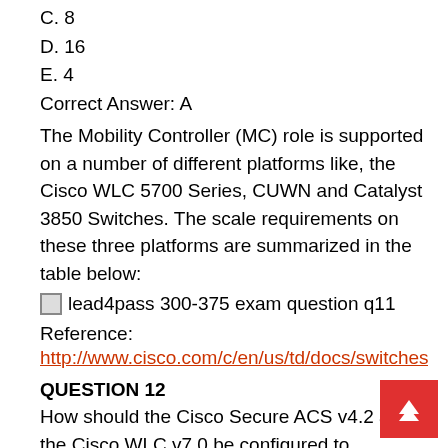C. 8
D. 16
E. 4
Correct Answer: A
The Mobility Controller (MC) role is supported on a number of different platforms like, the Cisco WLC 5700 Series, CUWN and Catalyst 3850 Switches. The scale requirements on these three platforms are summarized in the table below:
[Figure (other): lead4pass 300-375 exam question q11]
Reference:
http://www.cisco.com/c/en/us/td/docs/switches/lan/
QUESTION 12
How should the Cisco Secure ACS v4.2 and the Cisco WLC v7.0 be configured to